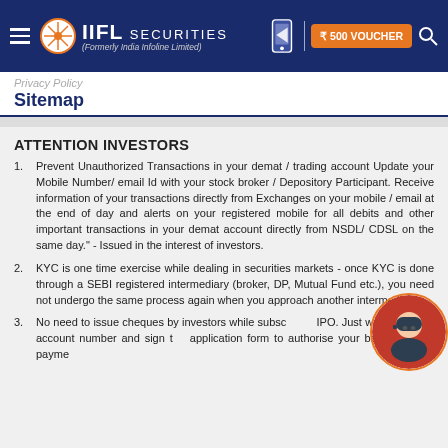IIFL Securities (Formerly India Infoline Limited) | ₹500 VOUCHER
Privacy Policy   Sitemap
ATTENTION INVESTORS
Prevent Unauthorized Transactions in your demat / trading account Update your Mobile Number/ email Id with your stock broker / Depository Participant. Receive information of your transactions directly from Exchanges on your mobile / email at the end of day and alerts on your registered mobile for all debits and other important transactions in your demat account directly from NSDL/ CDSL on the same day." - Issued in the interest of investors.
KYC is one time exercise while dealing in securities markets - once KYC is done through a SEBI registered intermediary (broker, DP, Mutual Fund etc.), you need not undergo the same process again when you approach another intermediary.
No need to issue cheques by investors while subscribing IPO. Just write the bank account number and sign the application form to authorise your bank to make payment...